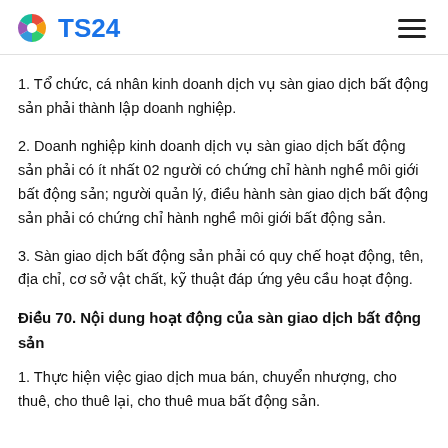TS24
1. Tổ chức, cá nhân kinh doanh dịch vụ sàn giao dịch bất động sản phải thành lập doanh nghiệp.
2. Doanh nghiệp kinh doanh dịch vụ sàn giao dịch bất động sản phải có ít nhất 02 người có chứng chỉ hành nghề môi giới bất động sản; người quản lý, điều hành sàn giao dịch bất động sản phải có chứng chỉ hành nghề môi giới bất động sản.
3. Sàn giao dịch bất động sản phải có quy chế hoạt động, tên, địa chỉ, cơ sở vật chất, kỹ thuật đáp ứng yêu cầu hoạt động.
Điều 70. Nội dung hoạt động của sàn giao dịch bất động sản
1. Thực hiện việc giao dịch mua bán, chuyển nhượng, cho thuê, cho thuê lại, cho thuê mua bất động sản.